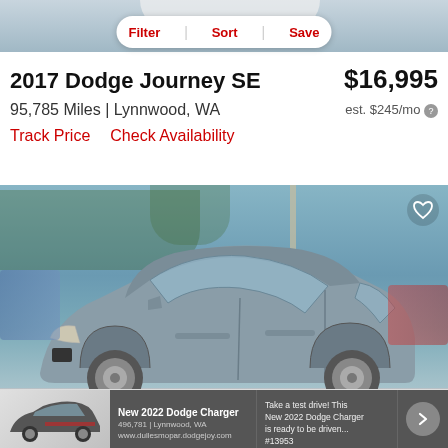[Figure (screenshot): Top portion of a car/vehicle partially visible at the top of the screen]
Filter | Sort | Save
2017 Dodge Journey SE
$16,995
95,785 Miles | Lynnwood, WA
est. $245/mo
Track Price    Check Availability
[Figure (photo): Photo of a gray 2017 Dodge Journey SE SUV parked in a dealership lot with trees and other vehicles visible in the background. A heart/save icon is visible in the top right corner.]
New 2022 Dodge Charger | Take a test drive! This New 2022 Dodge Charger is ready to be driven... #13953